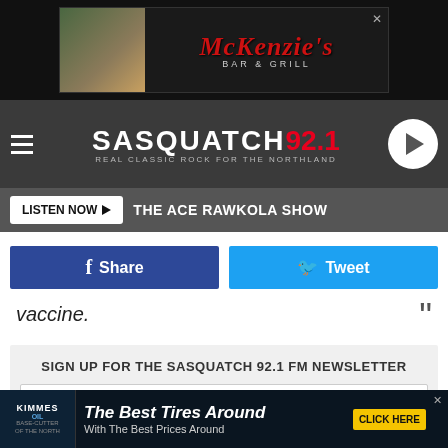[Figure (screenshot): McKenzie's Bar & Grill advertisement banner at top of page]
[Figure (screenshot): Sasquatch 92.1 radio station header with hamburger menu and play button]
LISTEN NOW ▶  THE ACE RAWKOLA SHOW
Share   Tweet
vaccine. "
SIGN UP FOR THE SASQUATCH 92.1 FM NEWSLETTER
Email Address
In addition to discounts on drinks some breweries and distilleries are offering vaccination clinics at their
[Figure (screenshot): Kimmes Oil advertisement: The Best Tires Around With The Best Prices Around CLICK HERE]